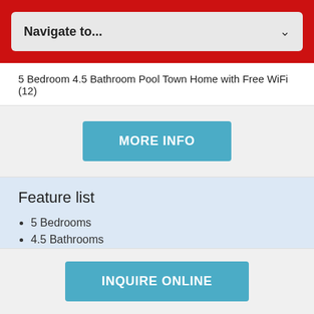Navigate to...
5 Bedroom 4.5 Bathroom Pool Town Home with Free WiFi (12)
[Figure (other): MORE INFO button — blue rectangular button with white uppercase text]
Feature list
5 Bedrooms
4.5 Bathrooms
Pool
Laundry Room
Towels/Linen
Wi-Fi
[Figure (other): INQUIRE ONLINE button — blue rectangular button with white uppercase text]